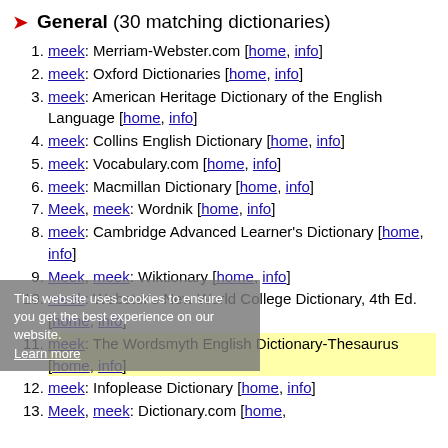General (30 matching dictionaries)
meek: Merriam-Webster.com [home, info]
meek: Oxford Dictionaries [home, info]
meek: American Heritage Dictionary of the English Language [home, info]
meek: Collins English Dictionary [home, info]
meek: Vocabulary.com [home, info]
meek: Macmillan Dictionary [home, info]
Meek, meek: Wordnik [home, info]
meek: Cambridge Advanced Learner's Dictionary [home, info]
Meek, meek: Wiktionary [home, info]
meek: Webster's New World College Dictionary, 4th Ed. [home, info]
meek: The Wordsmyth English Dictionary-Thesaurus [home, info]
meek: Infoplease Dictionary [home, info]
Meek, meek: Dictionary.com [home, info]